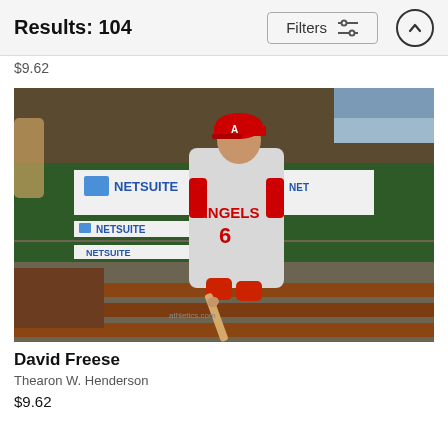Results: 104  Filters
$9.62
[Figure (photo): David Freese, Los Angeles Angels player wearing jersey number 6, holding a bat in a dugout with NetSuite and Athletics advertising banners visible in the background.]
David Freese
Thearon W. Henderson
$9.62